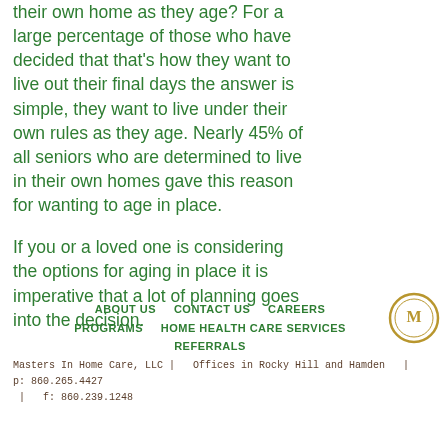their own home as they age? For a large percentage of those who have decided that that's how they want to live out their final days the answer is simple, they want to live under their own rules as they age. Nearly 45% of all seniors who are determined to live in their own homes gave this reason for wanting to age in place.
If you or a loved one is considering the options for aging in place it is imperative that a lot of planning goes into the decision.
ABOUT US   CONTACT US   CAREERS   PROGRAMS   HOME HEALTH CARE SERVICES   REFERRALS
Masters In Home Care, LLC |   Offices in Rocky Hill and Hamden   |   p: 860.265.4427   |   f: 860.239.1248